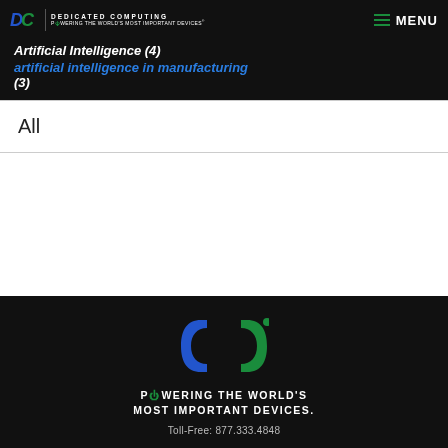Artificial Intelligence (4)
[Figure (logo): Dedicated Computing logo with DC symbol and tagline 'Powering the World's Most Important Devices']
artificial intelligence in manufacturing (3)
All
[Figure (logo): Dedicated Computing DC logo (large, dark background) with tagline 'Powering the World's Most Important Devices.' and Toll-Free: 877.333.4848]